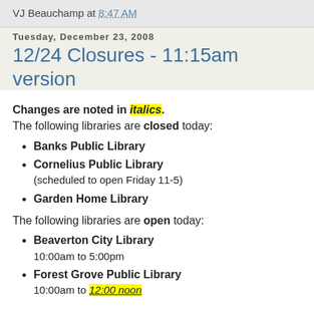VJ Beauchamp at 8:47 AM
Tuesday, December 23, 2008
12/24 Closures - 11:15am version
Changes are noted in italics. The following libraries are closed today:
Banks Public Library
Cornelius Public Library (scheduled to open Friday 11-5)
Garden Home Library
The following libraries are open today:
Beaverton City Library 10:00am to 5:00pm
Forest Grove Public Library 10:00am to 12:00 noon